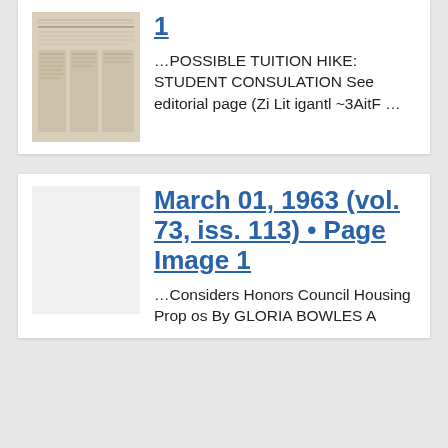[Figure (photo): Thumbnail image of a newspaper front page, yellowed/aged, with text columns visible]
1
…POSSIBLE TUITION HIKE: STUDENT CONSULATION See editorial page (Zi Lit igantl ~3AitF …
March 01, 1963 (vol. 73, iss. 113) • Page Image 1
…Considers Honors Council Housing Prop os By GLORIA BOWLES A